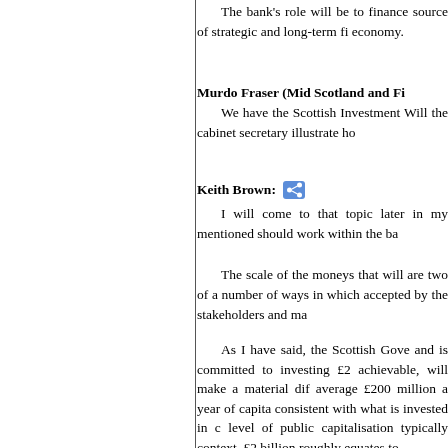The bank's role will be to finance source of strategic and long-term fi economy.
Murdo Fraser (Mid Scotland and Fi We have the Scottish Investment Will the cabinet secretary illustrate ho
Keith Brown: I will come to that topic later in my mentioned should work within the ba
The scale of the moneys that will are two of a number of ways in which accepted by the stakeholders and ma
As I have said, the Scottish Gove and is committed to investing £2 achievable, will make a material dif average £200 million a year of capita consistent with what is invested in level of public capitalisation typically context, £2 billion roughly equates to
We have taken the first steps. Th building Scotland fund. That fund, an £340 million is to be made available billion pounds have been identified